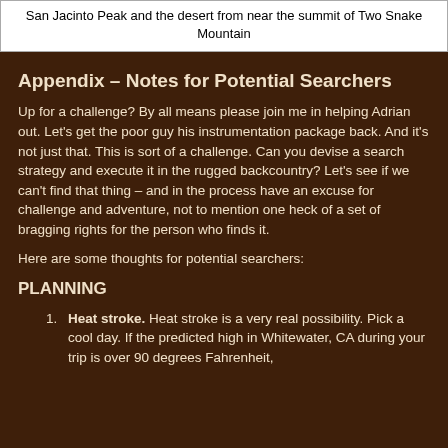San Jacinto Peak and the desert from near the summit of Two Snake Mountain
Appendix – Notes for Potential Searchers
Up for a challenge?  By all means please join me in helping Adrian out.  Let's get the poor guy his instrumentation package back.  And it's not just that.  This is sort of a challenge.  Can you devise a search strategy and execute it in the rugged backcountry?    Let's see if we can't find that thing – and in the process have an excuse for challenge and adventure, not to mention one heck of a set of bragging rights for the person who finds it.
Here are some thoughts for potential searchers:
PLANNING
Heat stroke.  Heat stroke is a very real possibility.  Pick a cool day.  If the predicted high in Whitewater, CA during your trip is over 90 degrees Fahrenheit,